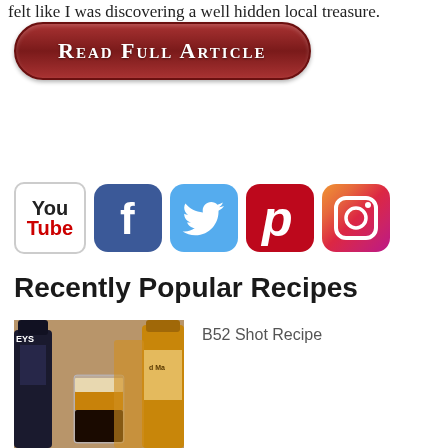felt like I was discovering a well hidden local treasure.
Read Full Article
[Figure (infographic): Social media icons row: YouTube, Facebook, Twitter, Pinterest, Instagram]
Recently Popular Recipes
[Figure (photo): B52 Shot cocktail photo showing layered shot glass with dark bottom layer and creamy top, with liquor bottles in background]
B52 Shot Recipe